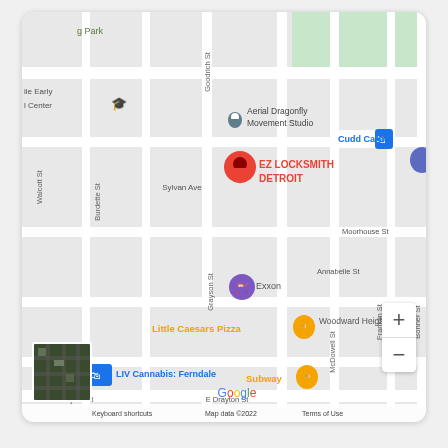[Figure (map): Google Maps screenshot showing EZ LOCKSMITH DETROIT location on Sylvan Ave in Detroit/Ferndale area. Nearby landmarks include Aerial Dragonfly Movement Studio, Cudd Carpet, Exxon, Little Caesars Pizza, LIV Cannabis: Ferndale, Subway, Woodward Heights. Streets visible: Goodrich St, Burdette St, Walcott St, Grayson St, McDowell St, Bonner St, Moorhouse St, Annabelle St, E Drayton St. Red pin marks EZ LOCKSMITH DETROIT location. Map data ©2022.]